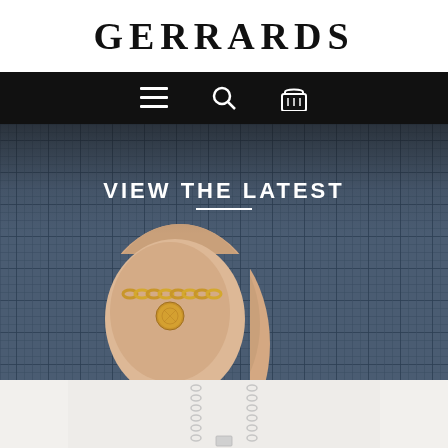GERRARDS
[Figure (screenshot): Navigation bar with hamburger menu icon, search icon, and shopping basket icon on black background]
[Figure (photo): Hero image showing a gold chain bracelet with coin charm worn on a wrist against a dark blue plaid blazer fabric background, with 'VIEW THE LATEST' text overlay]
[Figure (photo): Product photo showing a silver chain necklace with a pendant on a light grey background, partially visible]